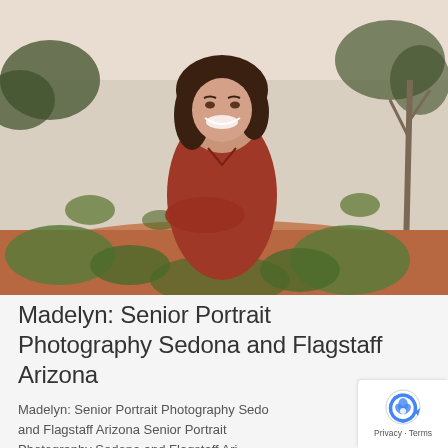[Figure (photo): Young woman with dark hair, smiling brightly, wearing a rust-red long-sleeve dress with arms crossed, standing in an outdoor desert/scrubland setting with red soil, yucca plants, and trees in the background (Sedona/Flagstaff Arizona landscape).]
Madelyn: Senior Portrait Photography Sedona and Flagstaff Arizona
Madelyn: Senior Portrait Photography Sedona and Flagstaff Arizona Senior Portrait Photography Sedona and Flagstaff Ari...